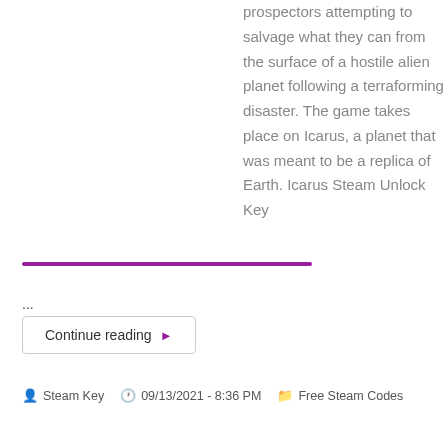prospectors attempting to salvage what they can from the surface of a hostile alien planet following a terraforming disaster. The game takes place on Icarus, a planet that was meant to be a replica of Earth. Icarus Steam Unlock Key
...
Continue reading
Steam Key  09/13/2021 - 8:36 PM  Free Steam Codes